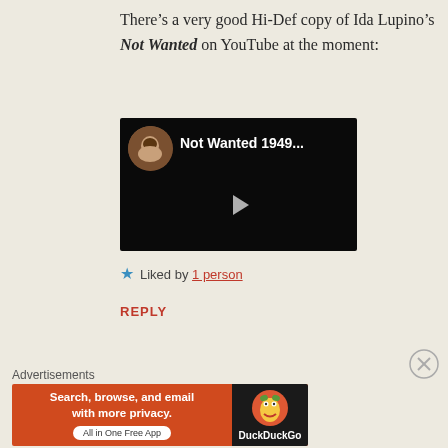There’s a very good Hi-Def copy of Ida Lupino’s Not Wanted on YouTube at the moment:
[Figure (screenshot): YouTube video thumbnail for 'Not Wanted 1949...' showing a dark scene with a circular avatar portrait on the left and a play button in the center.]
★ Liked by 1 person
REPLY
[Figure (infographic): DuckDuckGo advertisement banner: 'Search, browse, and email with more privacy. All in One Free App' with DuckDuckGo logo on the right.]
Advertisements